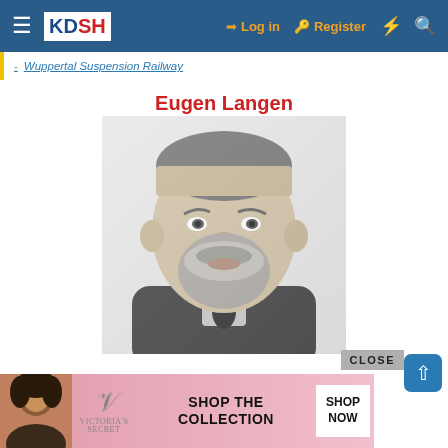KDSH — Log in | Register
- Wuppertal Suspension Railway
Eugen Langen
[Figure (photo): Black and white portrait photograph of Eugen Langen, a bearded middle-aged man in formal 19th-century attire]
[Figure (other): Victoria's Secret advertisement banner: 'SHOP THE COLLECTION' with SHOP NOW button]
CLOSE